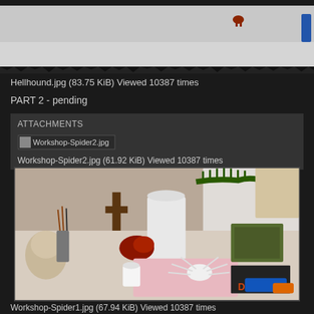[Figure (photo): Top portion of a photo showing a light gray/white background with a small red-brown creature or figurine visible and a blue object at the right edge. Bottom of image has dark jagged border.]
Hellhound.jpg (83.75 KiB) Viewed 10387 times
PART 2 - pending
ATTACHMENTS
[Figure (screenshot): Workshop-Spider2.jpg file attachment icon with filename label]
Workshop-Spider2.jpg (61.92 KiB) Viewed 10387 times
[Figure (photo): A workshop desk cluttered with craft supplies, figurines, a skull, paint containers, a large jar, books, a blue clamp, and a white spider model in progress on a pink surface.]
Workshop-Spider1.jpg (67.94 KiB) Viewed 10387 times